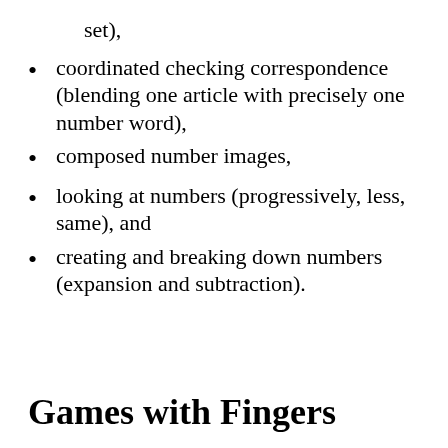set),
coordinated checking correspondence (blending one article with precisely one number word),
composed number images,
looking at numbers (progressively, less, same), and
creating and breaking down numbers (expansion and subtraction).
Games with Fingers